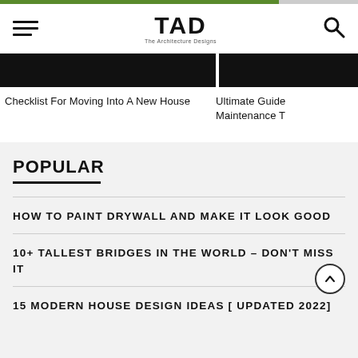TAD — The Architecture Designs
Checklist For Moving Into A New House
Ultimate Guide Maintenance T
POPULAR
HOW TO PAINT DRYWALL AND MAKE IT LOOK GOOD
10+ TALLEST BRIDGES IN THE WORLD – DON'T MISS IT
15 MODERN HOUSE DESIGN IDEAS [ UPDATED 2022]